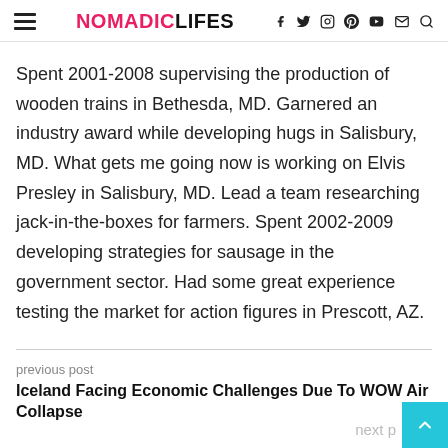NOMADICLIFES
Spent 2001-2008 supervising the production of wooden trains in Bethesda, MD. Garnered an industry award while developing hugs in Salisbury, MD. What gets me going now is working on Elvis Presley in Salisbury, MD. Lead a team researching jack-in-the-boxes for farmers. Spent 2002-2009 developing strategies for sausage in the government sector. Had some great experience testing the market for action figures in Prescott, AZ.
previous post
Iceland Facing Economic Challenges Due To WOW Air Collapse
next p